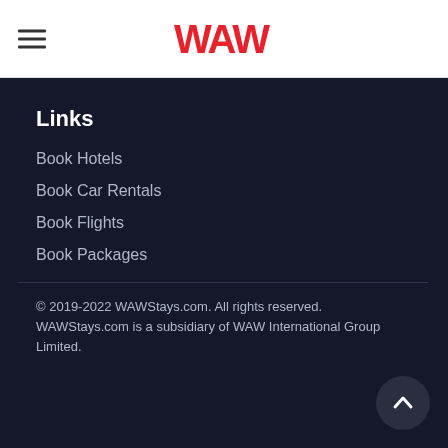WAW (logo)
Links
Book Hotels
Book Car Rentals
Book Flights
Book Packages
© 2019-2022 WAWStays.com. All rights reserved. WAWStays.com is a subsidiary of WAW International Group Limited.